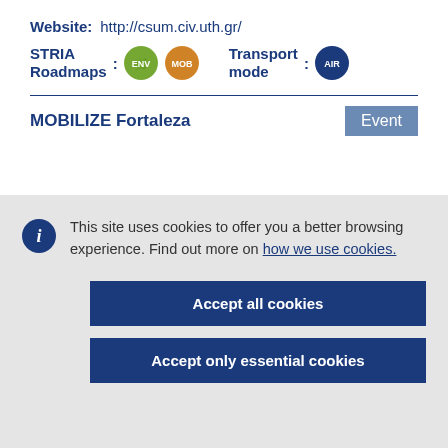Website: http://csum.civ.uth.gr/
STRIA Roadmaps : [icons] Transport mode : [icon]
MOBILIZE Fortaleza
Event
This site uses cookies to offer you a better browsing experience. Find out more on how we use cookies.
Accept all cookies
Accept only essential cookies